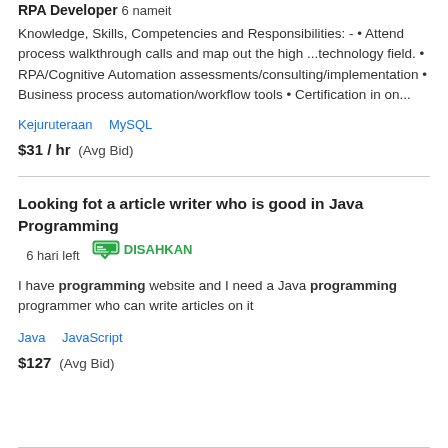RPA Developer 6 nameit
Knowledge, Skills, Competencies and Responsibilities: - • Attend process walkthrough calls and map out the high ...technology field. • RPA/Cognitive Automation assessments/consulting/implementation • Business process automation/workflow tools • Certification in on...
Kejuruteraan   MySQL
$31 / hr  (Avg Bid)
Looking fot a article writer who is good in Java Programming  6 hari left  DISAHKAN
I have programming website and I need a Java programming programmer who can write articles on it
Java   JavaScript
$127  (Avg Bid)